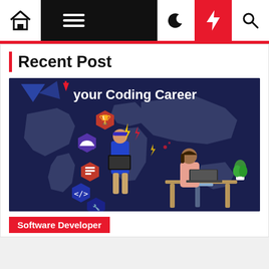Navigation bar with home, menu, dark mode, lightning, and search icons
Recent Post
[Figure (illustration): Illustration of two people working on coding careers. Title text reads 'your Coding Career'. Features hexagonal icons including a trophy, cloud storage, code brackets, and wrench. Background shows a world map. A woman sits at a desk with a laptop and a man stands holding a laptop.]
Software Developer